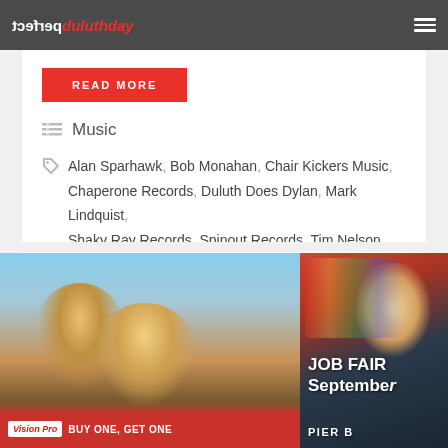perfect duluthday
READ MORE
Music
Alan Sparhawk, Bob Monahan, Chair Kickers Music, Chaperone Records, Duluth Does Dylan, Mark Lindquist, Shaky Ray Records, Spinout Records, Tim Nelson
[Figure (photo): Two young women smiling and eating ice cream cones outdoors at dusk, Vision Pro buy one get one advertisement overlay at bottom]
[Figure (photo): Blonde woman in dark jacket holding a cocktail glass, with JOB FAIR September text overlay, Pier B branding at bottom]